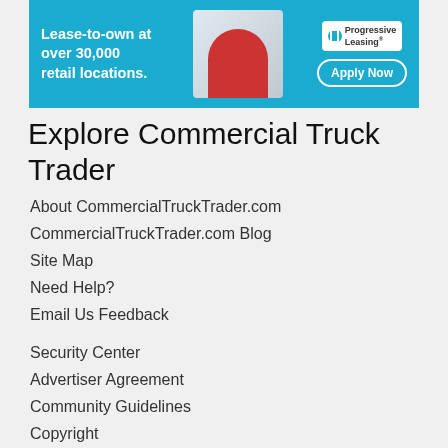[Figure (infographic): Progressive Leasing advertisement banner: blue background with text 'Lease-to-own at over 30,000 retail locations.' on the left, a person in the center, and a Progressive Leasing logo with 'Apply Now' button on the right.]
Explore Commercial Truck Trader
About CommercialTruckTrader.com
CommercialTruckTrader.com Blog
Site Map
Need Help?
Email Us Feedback
Security Center
Advertiser Agreement
Community Guidelines
Copyright
Privacy Policy
Terms of Use
Commercial Truck Trader Affiliates